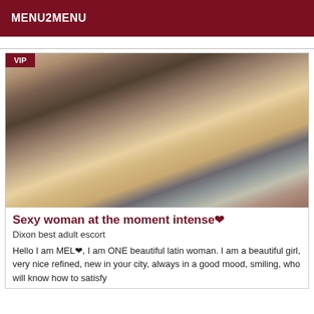MENU2MENU
[Figure (photo): A woman posing indoors, wearing a white outfit, with a bedroom visible in the background. A VIP badge is shown in the top-left corner of the image.]
Sexy woman at the moment intense♥
Dixon best adult escort
Hello I am MEL♥, I am ONE beautiful latin woman. I am a beautiful girl, very nice refined, new in your city, always in a good mood, smiling, who will know how to satisfy